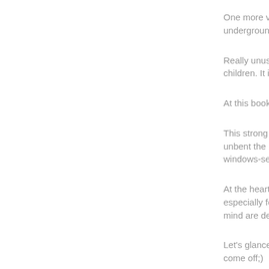One more very bright underground, under...
Really unusual and f... children. It is very ori...
At this book other fea...
This strong book-gly... unbent the big valve... windows-sekretikov b...
At the heart of the bo... especially for childre... mind are developed.
Let's glance together... come off;)
This book, perhaps,... the farces, will teach...